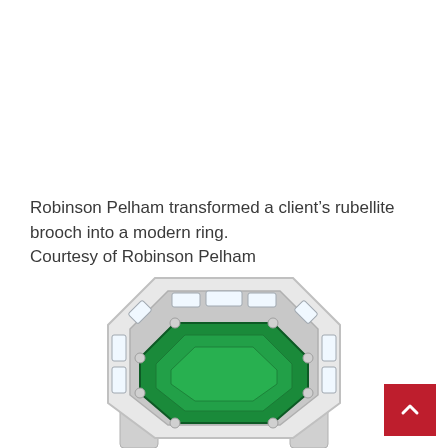Robinson Pelham transformed a client's rubellite brooch into a modern ring.
Courtesy of Robinson Pelham
[Figure (photo): Bottom portion of a jeweled ring featuring a large green emerald center stone surrounded by baguette diamonds set in white metal, with a red back-to-top button in the lower right corner.]